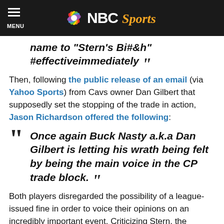NBC Sports
name to “Stern’s Bi#&h” #effectiveimmediately ”
Then, following the public release of an email (via Yahoo Sports) from Cavs owner Dan Gilbert that supposedly set the stopping of the trade in action, Jason Richardson offered the following:
“ Once again Buck Nasty a.k.a Dan Gilbert is letting his wrath being felt by being the main voice in the CP trade block. ”
Both players disregarded the possibility of a league-issued fine in order to voice their opinions on an incredibly important event. Criticizing Stern, the league, and the owner of another team aren’t commonly